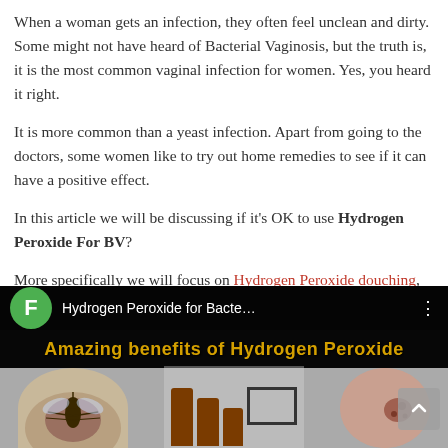When a woman gets an infection, they often feel unclean and dirty. Some might not have heard of Bacterial Vaginosis, but the truth is, it is the most common vaginal infection for women. Yes, you heard it right.
It is more common than a yeast infection. Apart from going to the doctors, some women like to try out home remedies to see if it can have a positive effect.
In this article we will be discussing if it’s OK to use Hydrogen Peroxide For BV?
More specifically we will focus on Hydrogen Peroxide douching, to see whether it is an effective treatment
[Figure (screenshot): Video thumbnail showing 'Hydrogen Peroxide for Bacte...' with a green circle F icon, and a banner reading 'Amazing benefits of Hydrogen Peroxide' with images of a mosquito, brown bottles, and a wound]